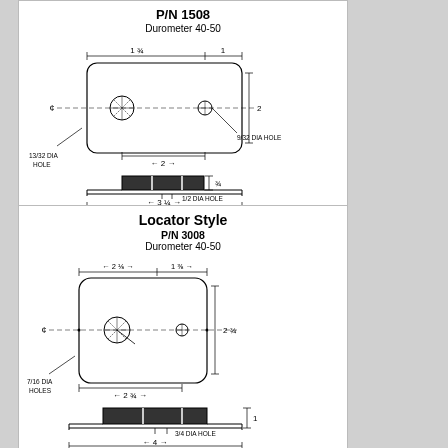[Figure (engineering-diagram): Engineering drawing of P/N 1508 Locator Style part, Durometer 40-50, showing top view with dimensions: 1-3/4, 1, 2, 13/32 DIA HOLE, 9/32 DIA HOLE, 2, and side view with 3/4, 1/2 DIA HOLE, 3-1/4]
[Figure (engineering-diagram): Engineering drawing of P/N 3008 Locator Style part, Durometer 40-50, showing top view with dimensions: 2-1/8, 1-3/8, 2-3/4, 7/16 DIA HOLES, 2-3/4, and side view with 1, 3/4 DIA HOLE, 4]